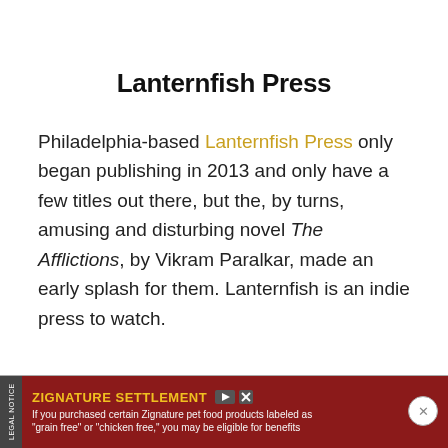Lanternfish Press
Philadelphia-based Lanternfish Press only began publishing in 2013 and only have a few titles out there, but the, by turns, amusing and disturbing novel The Afflictions, by Vikram Paralkar, made an early splash for them. Lanternfish is an indie press to watch.
LEGAL NOTICE — ZIGNATURE SETTLEMENT — If you purchased certain Zignature pet food products labeled as "grain free" or "chicken free," you may be eligible for benefits